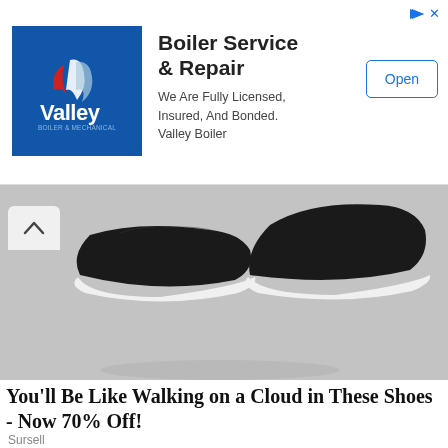[Figure (screenshot): Advertisement banner for Valley Boiler Service and Repair with blue logo, headline, description text, and Open button]
[Figure (photo): Black slip-on shoes/sneakers on a gray surface, viewed from above]
You'll Be Like Walking on a Cloud in These Shoes - Now 70% Off!
Sursell
[Figure (photo): A hand holding several sugary red/pink gummy candy pieces]